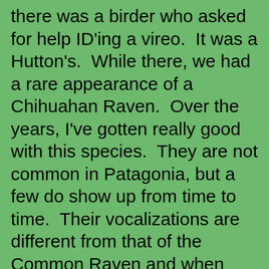there was a birder who asked for help ID'ing a vireo.  It was a Hutton's.  While there, we had a rare appearance of a Chihuahan Raven.  Over the years, I've gotten really good with this species.  They are not common in Patagonia, but a few do show up from time to time.  Their vocalizations are different from that of the Common Raven and when they call, it's an ID snap.  If they don't call, it can be SUPER tricky.  Thankfully most ravens are talkative in flight.  The high "haw haw haw" of the bird stood out among all the Common Ravens.  I had a birder play the call to learn the